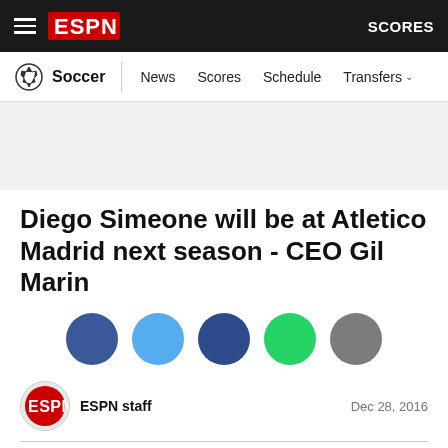ESPN — Soccer | News | Scores | Schedule | Transfers | SCORES
[Figure (screenshot): Gray advertisement banner placeholder]
Diego Simeone will be at Atletico Madrid next season - CEO Gil Marin
[Figure (infographic): Social share buttons: Facebook (dark blue), Twitter (light blue), Messenger (dark blue), WhatsApp (green), Share (gray)]
ESPN staff
Dec 28, 2016
Diego Simeone will remain as Atletico Madrid coach next season and see out the remainder of his contract, according to club CEO Miguel Angel Gil Marin.